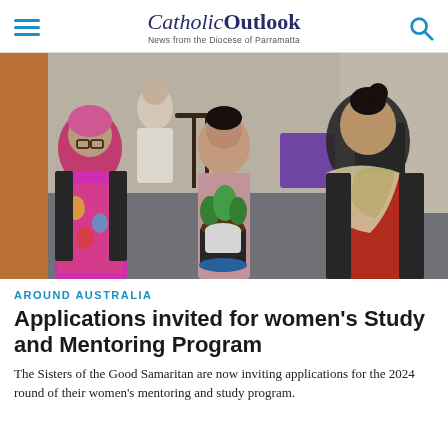CatholicOutlook — News from the Diocese of Parramatta
[Figure (photo): Three women in conversation at an indoor gathering; one has pink hair and a colorful dress, one wears a pink top, and one wears a red outfit with a scarf. Tables, chairs, and plants visible in the background.]
AROUND AUSTRALIA
Applications invited for women's Study and Mentoring Program
The Sisters of the Good Samaritan are now inviting applications for the 2024 round of their women's mentoring and study program.